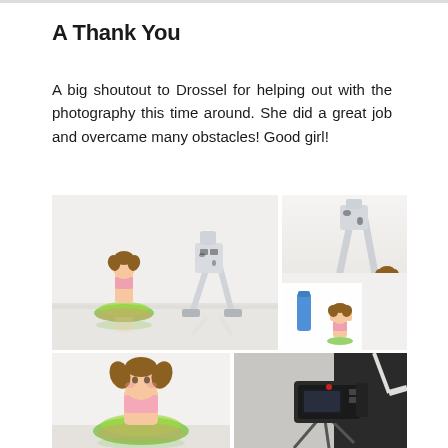A Thank You
A big shoutout to Drossel for helping out with the photography this time around. She did a great job and overcame many obstacles! Good girl!
[Figure (photo): Four photographs showing anime figurines (girl with twin-tails in swimsuit with green inflatable ring, and a robot figure) in a photo studio setting. Top-left: wide shot of both figurines on white surface. Top-right upper: robot and girl figurine together. Top-right lower: girl figurine in studio setup with blue bottle. Bottom-left: close-up of girl figurine. Bottom-right: DSLR camera on tripod in studio.]